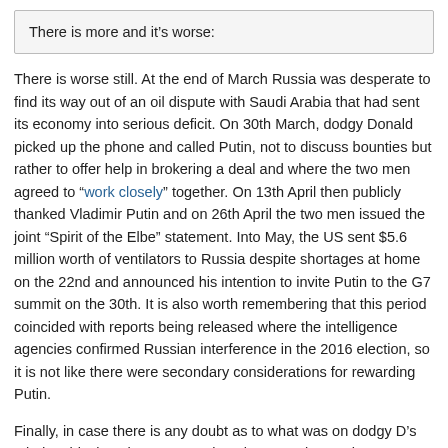There is more and it’s worse:
There is worse still. At the end of March Russia was desperate to find its way out of an oil dispute with Saudi Arabia that had sent its economy into serious deficit. On 30th March, dodgy Donald picked up the phone and called Putin, not to discuss bounties but rather to offer help in brokering a deal and where the two men agreed to "work closely" together. On 13th April then publicly thanked Vladimir Putin and on 26th April the two men issued the joint "Spirit of the Elbe" statement. Into May, the US sent $5.6 million worth of ventilators to Russia despite shortages at home on the 22nd and announced his intention to invite Putin to the G7 summit on the 30th. It is also worth remembering that this period coincided with reports being released where the intelligence agencies confirmed Russian interference in the 2016 election, so it is not like there were secondary considerations for rewarding Putin.
Finally, in case there is any doubt as to what was on dodgy D’s mind at this time, he was tweeting about "Mutiny on the Bounty" on 14th April and the US announced a bounty on Venezuelan President Maduro on 2nd April. Apparently the reaction was to think that bounties were a good idea and to reward Putin for giving it to him. I